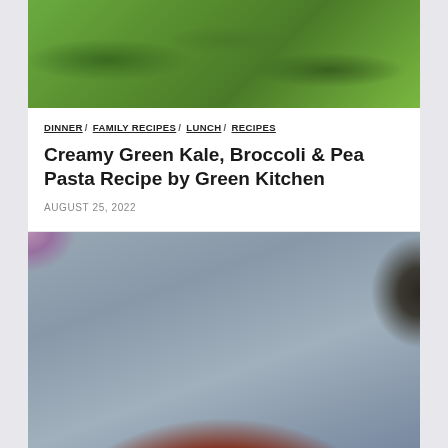[Figure (photo): Top-down view of green pasta (kale/pea pasta) in a pan with green sauce]
DINNER / FAMILY RECIPES / LUNCH / RECIPES
Creamy Green Kale, Broccoli & Pea Pasta Recipe by Green Kitchen
AUGUST 25, 2022
[Figure (photo): Top-down view of shakshuka-style dish with eggs, red pepper, onions, feta cheese, and herbs in a pan, on a wooden board with dark bowls, purple cloth, and grey stone surface]